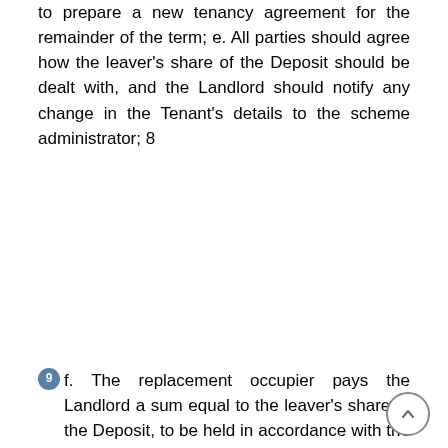to prepare a new tenancy agreement for the remainder of the term; e. All parties should agree how the leaver's share of the Deposit should be dealt with, and the Landlord should notify any change in the Tenant's details to the scheme administrator; 8
9 f. The replacement occupier pays the Landlord a sum equal to the leaver's share of the Deposit, to be held in accordance with the rules of the Deposit Protection